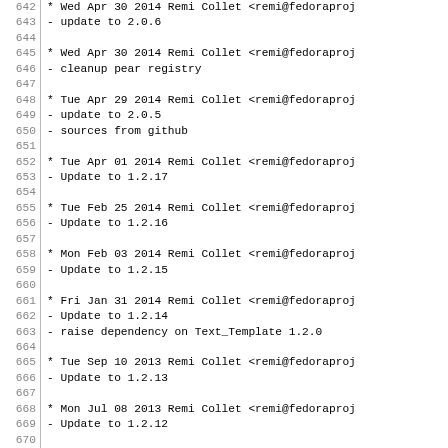642  * Wed Apr 30 2014 Remi Collet <remi@fedoraproj
643  - update to 2.0.6
644
645  * Wed Apr 30 2014 Remi Collet <remi@fedoraproj
646  - cleanup pear registry
647
648  * Tue Apr 29 2014 Remi Collet <remi@fedoraproj
649  - update to 2.0.5
650  - sources from github
651
652  * Tue Apr 01 2014 Remi Collet <remi@fedoraproj
653  - Update to 1.2.17
654
655  * Tue Feb 25 2014 Remi Collet <remi@fedoraproj
656  - Update to 1.2.16
657
658  * Mon Feb 03 2014 Remi Collet <remi@fedoraproj
659  - Update to 1.2.15
660
661  * Fri Jan 31 2014 Remi Collet <remi@fedoraproj
662  - Update to 1.2.14
663  - raise dependency on Text_Template 1.2.0
664
665  * Tue Sep 10 2013 Remi Collet <remi@fedoraproj
666  - Update to 1.2.13
667
668  * Mon Jul 08 2013 Remi Collet <remi@fedoraproj
669  - Update to 1.2.12
670
671  * Fri May 24 2013 Remi Collet <remi@fedoraproj